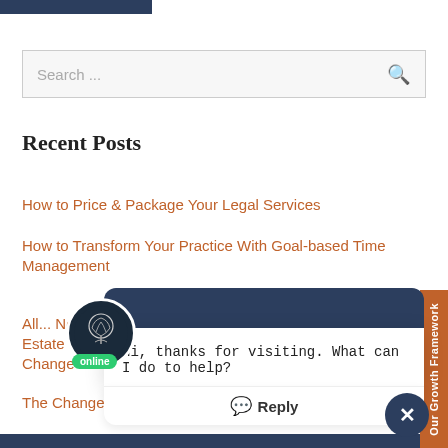[Figure (screenshot): Top blue navigation bar strip]
Search ...
Recent Posts
How to Price & Package Your Legal Services
How to Transform Your Practice With Goal-based Time Management
All... No... Estate Plann...
Change Through Better Time Management
The Change-Maker
[Figure (screenshot): Chat widget overlay with avatar showing tree logo, online badge, message saying 'Hi, thanks for visiting. What can I do to help?', Reply button, and close X button]
[Figure (other): Orange vertical side tab reading 'Our Growth Framework']